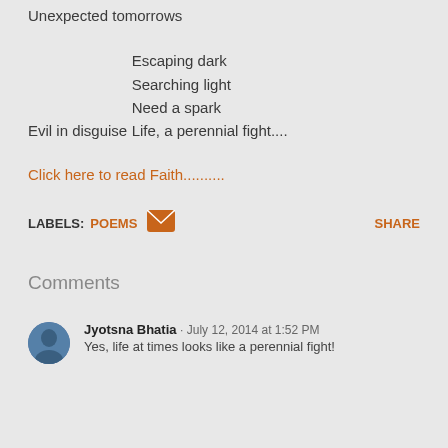Unexpected tomorrows
Evil in disguise
Escaping dark
Searching light
Need a spark
Life, a perennial fight....
Click here to read Faith..........
LABELS: POEMS
SHARE
Comments
Jyotsna Bhatia · July 12, 2014 at 1:52 PM
Yes, life at times looks like a perennial fight!